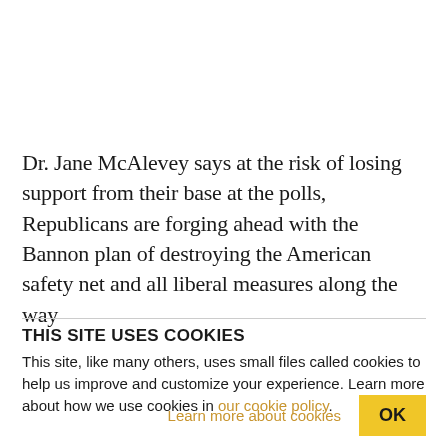Dr. Jane McAlevey says at the risk of losing support from their base at the polls, Republicans are forging ahead with the Bannon plan of destroying the American safety net and all liberal measures along the way
THIS SITE USES COOKIES
This site, like many others, uses small files called cookies to help us improve and customize your experience. Learn more about how we use cookies in our cookie policy.
Learn more about cookies  OK